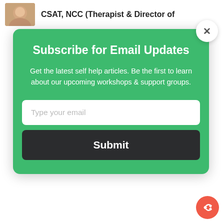CSAT, NCC (Therapist & Director of
[Figure (screenshot): Green email subscription modal popup with title 'Subscribe for Email Updates', descriptive text, email input field, and Submit button. Has an X close button in top-right corner.]
Subscribe for Email Updates
Get the latest self help articles. Be the first to learn about our upcoming workshops & support groups.
Type your email
Submit
Pennsylvania, New Jersey, Georgia, Florida
Tonya McDaniel, MEd, MSW, LSW (Therapist & Director of Professional Development)
Pennsylvania